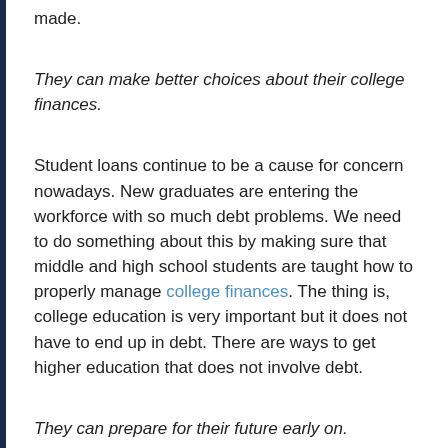made.
They can make better choices about their college finances.
Student loans continue to be a cause for concern nowadays. New graduates are entering the workforce with so much debt problems. We need to do something about this by making sure that middle and high school students are taught how to properly manage college finances. The thing is, college education is very important but it does not have to end up in debt. There are ways to get higher education that does not involve debt.
They can prepare for their future early on.
When young adult start saving for their future, it is always a sign of wise financial management. If you get them to start even earlier than that, it solidifies a comfortable retirement for them. They can start by making sure they will not end up